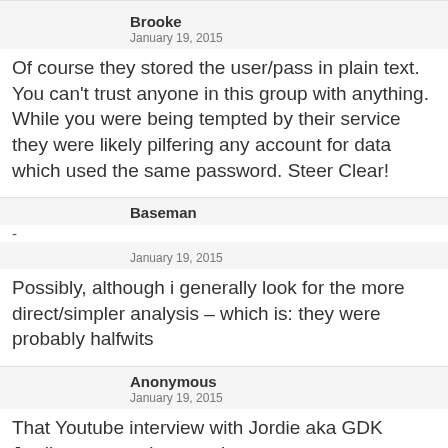Brooke
January 19, 2015
Of course they stored the user/pass in plain text. You can't trust anyone in this group with anything. While you were being tempted by their service they were likely pilfering any account for data which used the same password. Steer Clear!
Baseman
-
January 19, 2015
Possibly, although i generally look for the more direct/simpler analysis – which is: they were probably halfwits
Anonymous
January 19, 2015
That Youtube interview with Jordie aka GDK Jordie was so cringeworthy